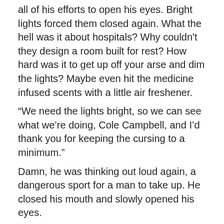all of his efforts to open his eyes. Bright lights forced them closed again. What the hell was it about hospitals? Why couldn't they design a room built for rest? How hard was it to get up off your arse and dim the lights? Maybe even hit the medicine infused scents with a little air freshener.
“We need the lights bright, so we can see what we’re doing, Cole Campbell, and I’d thank you for keeping the cursing to a minimum.”

Damn, he was thinking out loud again, a dangerous sport for a man to take up. He closed his mouth and slowly opened his eyes.

Cole recognized the firm feminine voice. He’d grown up with Jenny Butler, hell he’d even helped her out when one of her